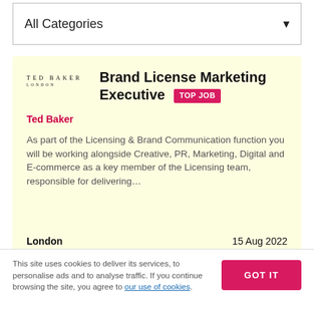All Categories
[Figure (infographic): Ted Baker London logo text]
Brand License Marketing Executive TOP JOB
Ted Baker
As part of the Licensing & Brand Communication function you will be working alongside Creative, PR, Marketing, Digital and E-commerce as a key member of the Licensing team, responsible for delivering…
London
15 Aug 2022
This site uses cookies to deliver its services, to personalise ads and to analyse traffic. If you continue browsing the site, you agree to our use of cookies.
GOT IT